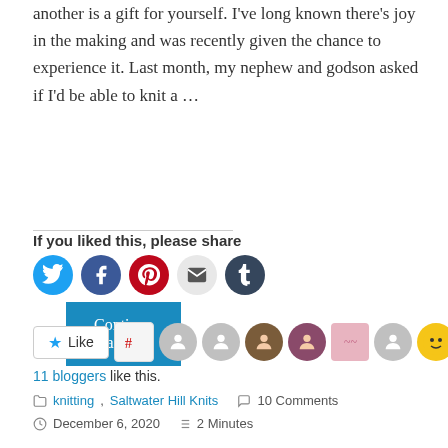another is a gift for yourself. I've long known there's joy in the making and was recently given the chance to experience it. Last month, my nephew and godson asked if I'd be able to knit a …
Continue reading
If you liked this, please share
[Figure (infographic): Social share icons: Twitter (blue circle), Facebook (dark blue circle), Pinterest (red circle), Email (light grey circle), Tumblr (dark blue circle)]
[Figure (infographic): Like button with star icon and blogger avatar images. Text: 11 bloggers like this.]
11 bloggers like this.
knitting, Saltwater Hill Knits   10 Comments
December 6, 2020   2 Minutes